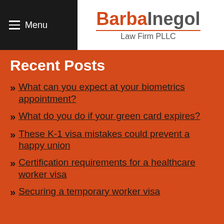Menu | BarbaInegol Law Firm PLLC
Recent Posts
What can you expect at your biometrics appointment?
What do you do if your green card expires?
These K-1 visa mistakes could prevent a happy union
Certification requirements for a healthcare worker visa
Securing a temporary worker visa